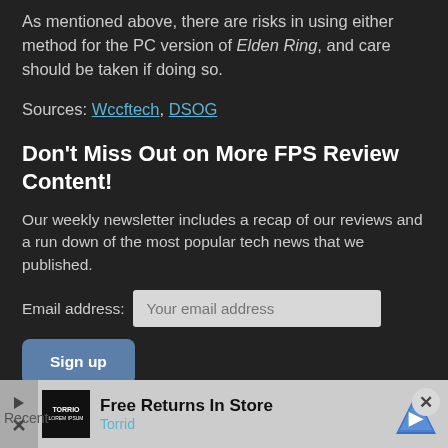As mentioned above, there are risks in using either method for the PC version of Elden Ring, and care should be taken if doing so.
Sources: Wccftech, DSOG
Don't Miss Out on More FPS Review Content!
Our weekly newsletter includes a recap of our reviews and a run down of the most popular tech news that we published.
Email address: [Your email address input field]
Sign up
[Figure (screenshot): Advertisement banner for Torrid with logo, 'Free Returns In Store' text, navigation icon, and close button. Shows 'Recent' label at bottom left.]